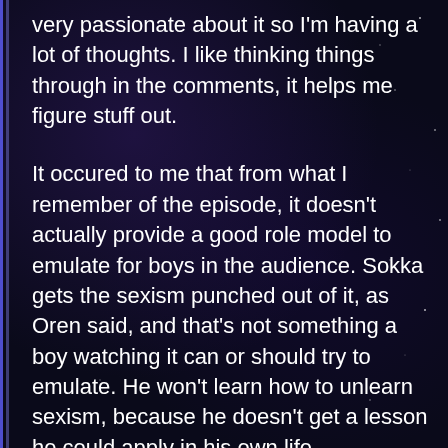very passionate about it so I'm having a lot of thoughts. I like thinking things through in the comments, it helps me figure stuff out.
It occured to me that from what I remember of the episode, it doesn't actually provide a good role model to emulate for boys in the audience. Sokka gets the sexism punched out of it, as Oren said, and that's not something a boy watching it can or should try to emulate. He won't learn how to unlearn sexism, because he doesn't get a lesson he could apply in his own life.
Moreover, the message subtly reinforces sexism in that it is basically about how girls